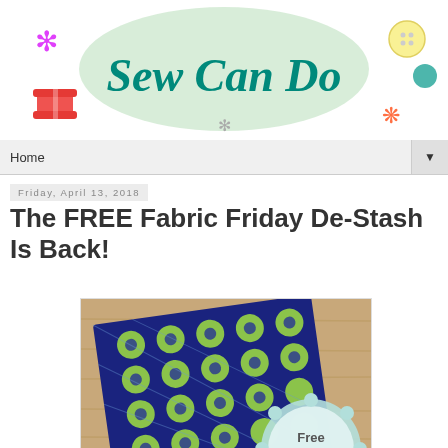[Figure (logo): Sew Can Do blog logo with decorative elements including asterisks, a thread spool, button, and flower motif in teal/green script text]
Home ▼
Friday, April 13, 2018
The FREE Fabric Friday De-Stash Is Back!
[Figure (photo): Photo of navy blue and green patterned fabric folded on a wooden surface, with a mint green scalloped badge reading 'Free Fabric']